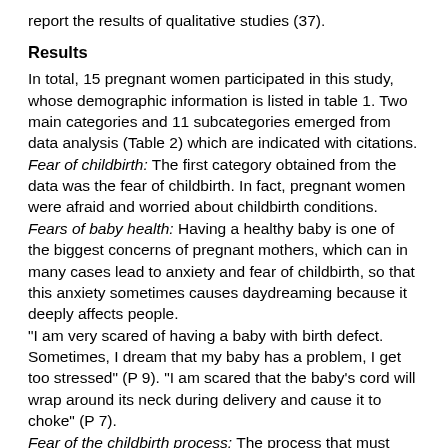report the results of qualitative studies (37).
Results
In total, 15 pregnant women participated in this study, whose demographic information is listed in table 1. Two main categories and 11 subcategories emerged from data analysis (Table 2) which are indicated with citations.
Fear of childbirth: The first category obtained from the data was the fear of childbirth. In fact, pregnant women were afraid and worried about childbirth conditions.
Fears of baby health: Having a healthy baby is one of the biggest concerns of pregnant mothers, which can in many cases lead to anxiety and fear of childbirth, so that this anxiety sometimes causes daydreaming because it deeply affects people.
"I am very scared of having a baby with birth defect. Sometimes, I dream that my baby has a problem, I get too stressed" (P 9). "I am scared that the baby's cord will wrap around its neck during delivery and cause it to choke" (P 7).
Fear of the childbirth process: The process that must take place to give birth to a baby is a great stress for many women that causes them to worry and be afraid of childbirth.
"I'm afraid of the pain of childbirth, it's said that it is very painful"